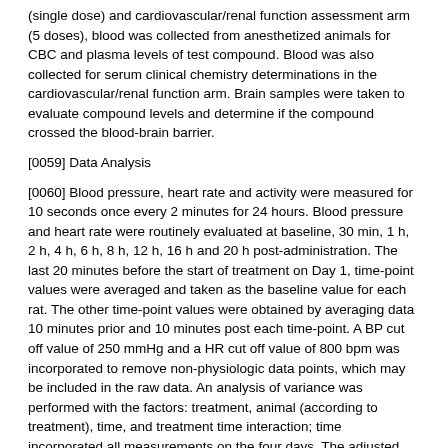(single dose) and cardiovascular/renal function assessment arm (5 doses), blood was collected from anesthetized animals for CBC and plasma levels of test compound. Blood was also collected for serum clinical chemistry determinations in the cardiovascular/renal function arm. Brain samples were taken to evaluate compound levels and determine if the compound crossed the blood-brain barrier.
[0059] Data Analysis
[0060] Blood pressure, heart rate and activity were measured for 10 seconds once every 2 minutes for 24 hours. Blood pressure and heart rate were routinely evaluated at baseline, 30 min, 1 h, 2 h, 4 h, 6 h, 8 h, 12 h, 16 h and 20 h post-administration. The last 20 minutes before the start of treatment on Day 1, time-point values were averaged and taken as the baseline value for each rat. The other time-point values were obtained by averaging data 10 minutes prior and 10 minutes post each time-point. A BP cut off value of 250 mmHg and a HR cut off value of 800 bpm was incorporated to remove non-physiologic data points, which may be included in the raw data. An analysis of variance was performed with the factors: treatment, animal (according to treatment), time, and treatment time interaction; time incorporated all measurements on the four days. The adjusted mean values post-treatment were compared with baseline. If there was a significant treatment time interaction, tests were performed for comparing the three treatment groups for each time-point. If such a test was